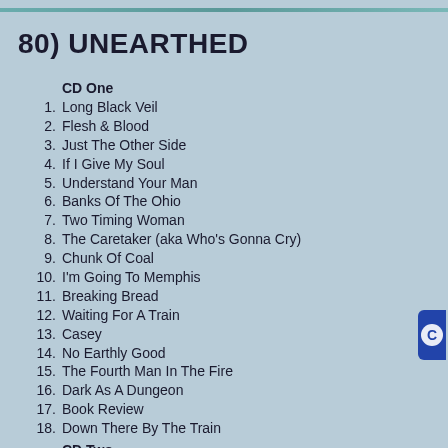80) UNEARTHED
CD One
1.  Long Black Veil
2.  Flesh & Blood
3.  Just The Other Side
4.  If I Give My Soul
5.  Understand Your Man
6.  Banks Of The Ohio
7.  Two Timing Woman
8.  The Caretaker (aka Who's Gonna Cry)
9.  Chunk Of Coal
10.  I'm Going To Memphis
11.  Breaking Bread
12.  Waiting For A Train
13.  Casey
14.  No Earthly Good
15.  The Fourth Man In The Fire
16.  Dark As A Dungeon
17.  Book Review
18.  Down There By The Train
CD Two